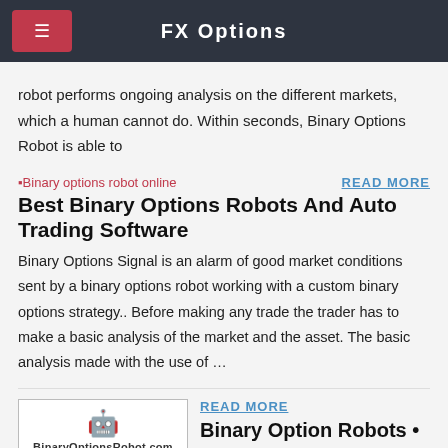FX Options
robot performs ongoing analysis on the different markets, which a human cannot do. Within seconds, Binary Options Robot is able to
[Figure (other): Broken image placeholder for Binary options robot online]
READ MORE
Best Binary Options Robots And Auto Trading Software
Binary Options Signal is an alarm of good market conditions sent by a binary options robot working with a custom binary options strategy.. Before making any trade the trader has to make a basic analysis of the market and the asset. The basic analysis made with the use of …
[Figure (screenshot): BinaryOptionsRobot.com advertisement image showing robot icon and 'Trade with the best' text on dark background]
READ MORE
Binary Option Robots •
In the U.S., every binary option settles at